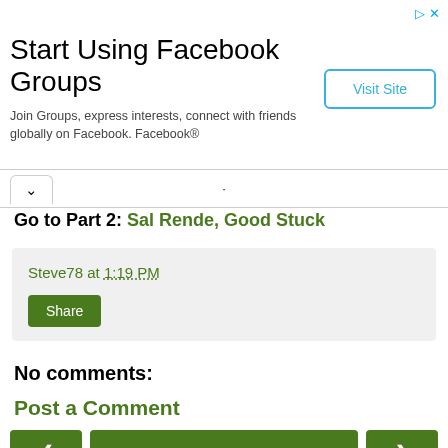[Figure (screenshot): Advertisement banner for Facebook Groups with title 'Start Using Facebook Groups', description text, and 'Visit Site' button]
Go to Part 2: Sal Rende, Good Stuck
Steve78 at 1:19 PM
Share
No comments:
Post a Comment
Home
View web version